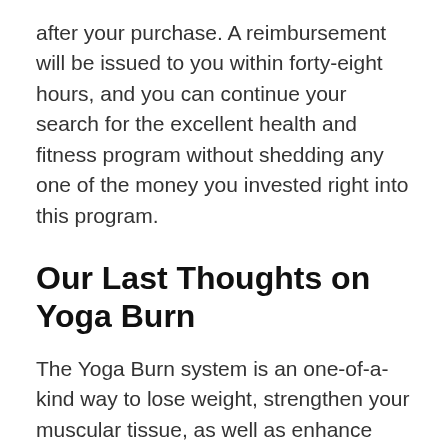after your purchase. A reimbursement will be issued to you within forty-eight hours, and you can continue your search for the excellent health and fitness program without shedding any one of the money you invested right into this program.
Our Last Thoughts on Yoga Burn
The Yoga Burn system is an one-of-a-kind way to lose weight, strengthen your muscular tissue, as well as enhance your flexibility. The program is designed particularly for females to help them Burn calories as well as attain their wanted physical fitness goals all from the comfort of their home. Although like...